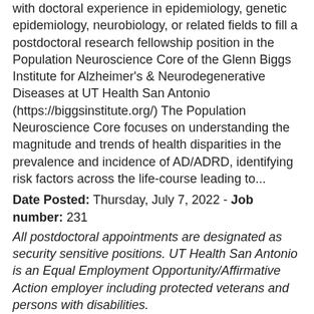with doctoral experience in epidemiology, genetic epidemiology, neurobiology, or related fields to fill a postdoctoral research fellowship position in the Population Neuroscience Core of the Glenn Biggs Institute for Alzheimer's & Neurodegenerative Diseases at UT Health San Antonio (https://biggsinstitute.org/) The Population Neuroscience Core focuses on understanding the magnitude and trends of health disparities in the prevalence and incidence of AD/ADRD, identifying risk factors across the life-course leading to...
Date Posted: Thursday, July 7, 2022 - Job number: 231
All postdoctoral appointments are designated as security sensitive positions. UT Health San Antonio is an Equal Employment Opportunity/Affirmative Action employer including protected veterans and persons with disabilities.
Go to top
Postdoctoral Position for Autonomic Neurophysiology
Overview/Job Description. The Department of Cellular and Integrative Physiology in the Long School of Medicine at the University of Texas Health San Antonio is seeking highly motivated postdoctoral fellows to engage in ongoing studies to investigate the role of vagal motor output in health and disease of...